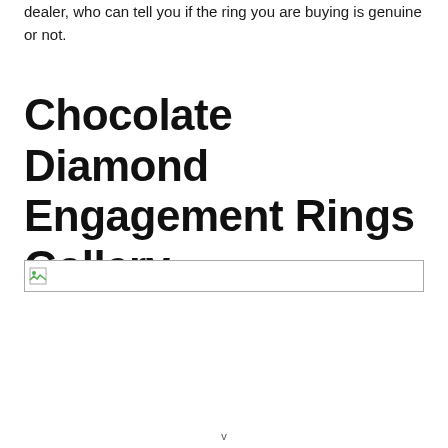dealer, who can tell you if the ring you are buying is genuine or not.
Chocolate Diamond Engagement Rings Gallery
[Figure (photo): Broken image placeholder for a chocolate diamond engagement ring gallery image]
v